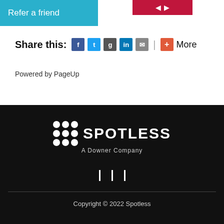Refer a friend
Share this: | More
Powered by PageUp
[Figure (logo): Spotless A Downer Company logo with grid of dots and company name in white on black background]
Social media links (icons)
Copyright © 2022 Spotless